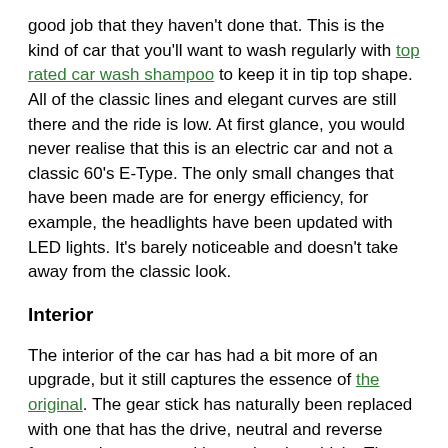good job that they haven't done that. This is the kind of car that you'll want to wash regularly with top rated car wash shampoo to keep it in tip top shape. All of the classic lines and elegant curves are still there and the ride is low. At first glance, you would never realise that this is an electric car and not a classic 60's E-Type. The only small changes that have been made are for energy efficiency, for example, the headlights have been updated with LED lights. It's barely noticeable and doesn't take away from the classic look.
Interior
The interior of the car has had a bit more of an upgrade, but it still captures the essence of the original. The gear stick has naturally been replaced with one that has the drive, neutral and reverse features that you need in an electric vehicle. The dash has been replaced with a slick looking carbon fibre one and they've added a modern screen display. There are also lots of new controls but they've all been designed with a classic car